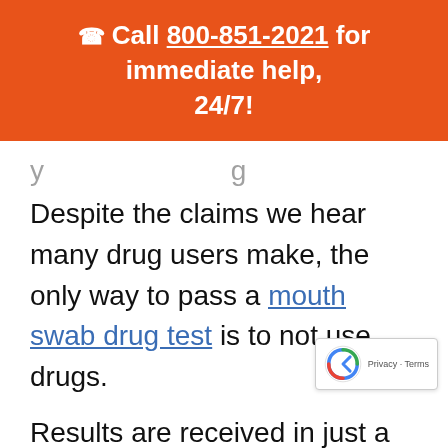📞 Call 800-851-2021 for immediate help, 24/7!
Despite the claims we hear many drug users make, the only way to pass a mouth swab drug test is to not use drugs.
Results are received in just a couple of days.
Because it can detect recent drug use,